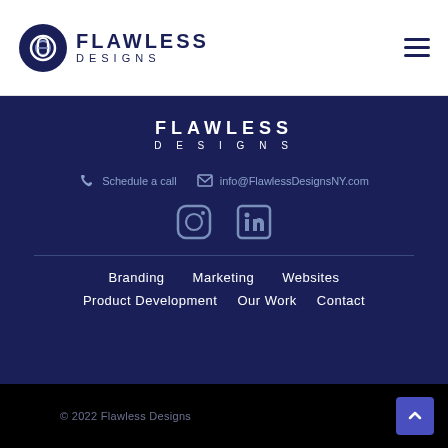[Figure (logo): Flawless Designs logo with circular icon and text FLAWLESS DESIGNS in dark navy blue]
[Figure (infographic): Hamburger menu icon (three horizontal lines) in dark navy]
FLAWLESS DESIGNS
Schedule a call
info@FlawlessDesignsNY.com
[Figure (logo): Instagram icon (rounded square with circle inside)]
[Figure (logo): LinkedIn icon (in square)]
Branding
Marketing
Websites
Product Development
Our Work
Contact
© 2022 Flawless Designs